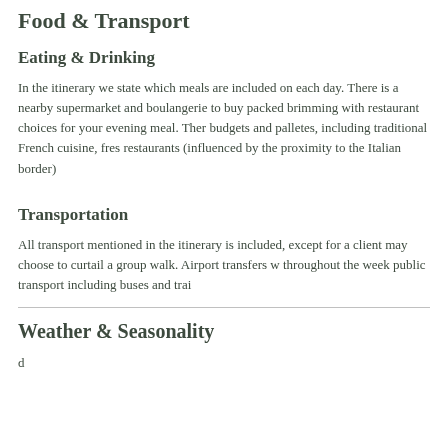Food & Transport
Eating & Drinking
In the itinerary we state which meals are included on each day. There is a nearby supermarket and boulangerie to buy packed brimming with restaurant choices for your evening meal. There budgets and palletes, including traditional French cuisine, fres restaurants (influenced by the proximity to the Italian border)
Transportation
All transport mentioned in the itinerary is included, except for a client may choose to curtail a group walk. Airport transfers w throughout the week public transport including buses and trai
Weather & Seasonality
d